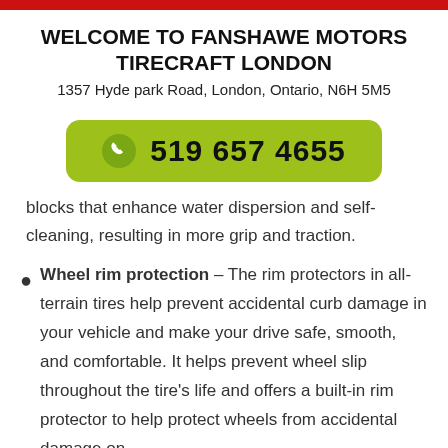WELCOME TO FANSHAWE MOTORS TIRECRAFT LONDON
1357 Hyde park Road, London, Ontario, N6H 5M5
[Figure (other): Green rounded button with phone icon and number: 519 657 4655]
blocks that enhance water dispersion and self-cleaning, resulting in more grip and traction.
Wheel rim protection – The rim protectors in all-terrain tires help prevent accidental curb damage in your vehicle and make your drive safe, smooth, and comfortable. It helps prevent wheel slip throughout the tire's life and offers a built-in rim protector to help protect wheels from accidental damage on-